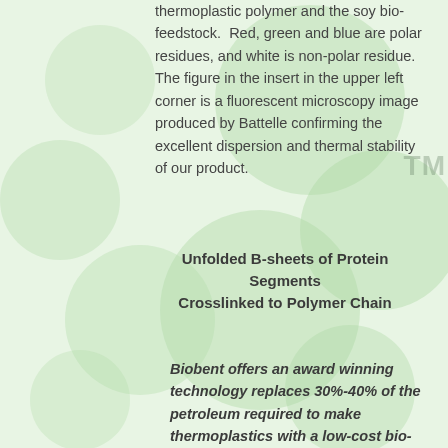thermoplastic polymer and the soy bio-feedstock. Red, green and blue are polar residues, and white is non-polar residue. The figure in the insert in the upper left corner is a fluorescent microscopy image produced by Battelle confirming the excellent dispersion and thermal stability of our product.
Unfolded B-sheets of Protein Segments Crosslinked to Polymer Chain
Biobent offers an award winning technology replaces 30%-40% of the petroleum required to make thermoplastics with a low-cost bio-